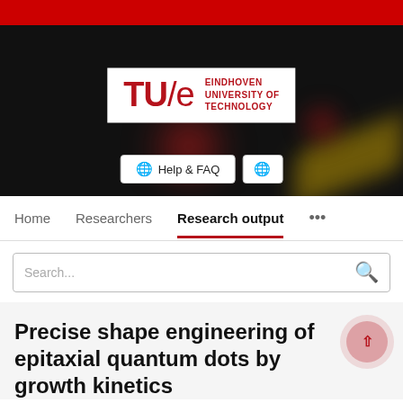[Figure (logo): TU/e Eindhoven University of Technology logo on dark hero banner background]
Home   Researchers   Research output   ...
Search...
Precise shape engineering of epitaxial quantum dots by growth kinetics